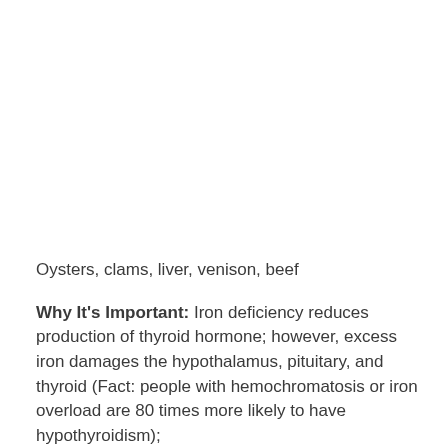Oysters, clams, liver, venison, beef
Why It's Important: Iron deficiency reduces production of thyroid hormone; however, excess iron damages the hypothalamus, pituitary, and thyroid (Fact: people with hemochromatosis or iron overload are 80 times more likely to have hypothyroidism);
Amount: Eat foods with iron in them or use a liver capsule supplement (if you are a vegetarian or vegan). Only...